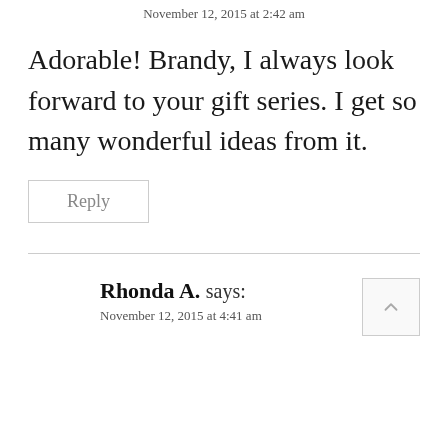November 12, 2015 at 2:42 am
Adorable! Brandy, I always look forward to your gift series. I get so many wonderful ideas from it.
Reply
Rhonda A. says:
November 12, 2015 at 4:41 am